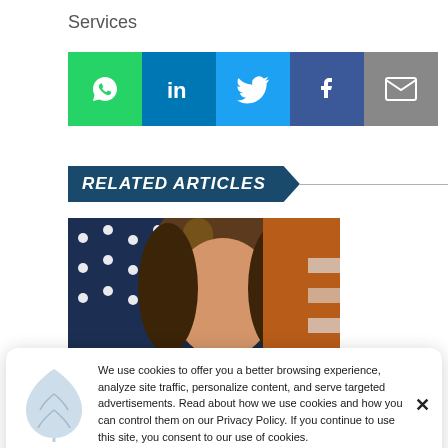Services
[Figure (infographic): Social sharing buttons: WhatsApp (green), LinkedIn (blue), Twitter (light blue), Facebook (dark blue), Email (grey)]
RELATED ARTICLES
[Figure (photo): Photo of a woman with brown hair, American flag in background]
We use cookies to offer you a better browsing experience, analyze site traffic, personalize content, and serve targeted advertisements. Read about how we use cookies and how you can control them on our Privacy Policy. If you continue to use this site, you consent to our use of cookies.